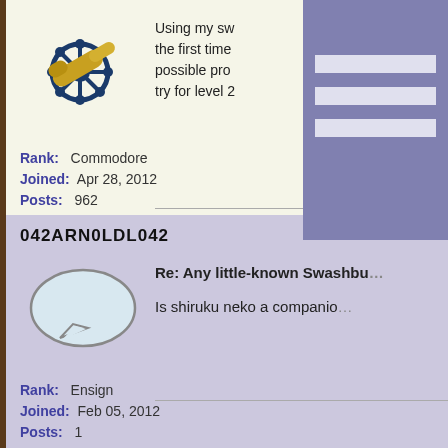[Figure (illustration): Pirate/nautical themed avatar icon with telescope and ship wheel]
Using my sw... the first time... possible pro... try for level 2...
Rank: Commodore
Joined: Apr 28, 2012
Posts: 962
042ARN0LDL042
[Figure (illustration): Speech bubble avatar icon]
Re: Any little-known Swashbu...
Is shiruku neko a companio...
Rank: Ensign
Joined: Feb 05, 2012
Posts: 1
SNIPER ROSE
Re: Any little-known Swashbu...
042arnoldl042 on Jun 3, 20...